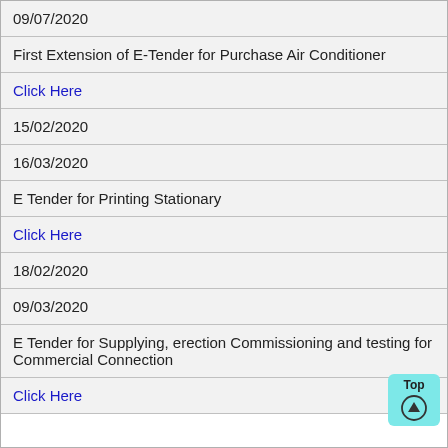| 09/07/2020 |
| First Extension of E-Tender for Purchase Air Conditioner |
| Click Here |
| 15/02/2020 |
| 16/03/2020 |
| E Tender for Printing Stationary |
| Click Here |
| 18/02/2020 |
| 09/03/2020 |
| E Tender for Supplying, erection Commissioning and testing for Commercial Connection |
| Click Here |